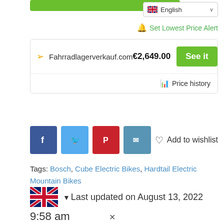[Figure (screenshot): Green button bar at top]
[Figure (screenshot): Language selector showing English with UK flag and dropdown chevron]
Set Lowest Price Alert
| Fahrradlagerverkauf.com | €2,649.00 | See it |
|  |  | Price history |
[Figure (screenshot): Social sharing buttons: Facebook, Twitter, Pinterest, Email; and Add to wishlist]
Tags: Bosch, Cube Electric Bikes, Hardtail Electric Mountain Bikes
▼Last updated on August 13, 2022
9:58 am